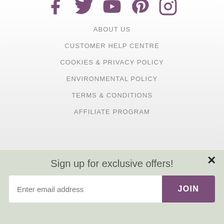[Figure (illustration): Social media icons row: Facebook, Twitter, YouTube, Pinterest, Instagram in purple color]
ABOUT US
CUSTOMER HELP CENTRE
COOKIES & PRIVACY POLICY
ENVIRONMENTAL POLICY
TERMS & CONDITIONS
AFFILIATE PROGRAM
Sign up for exclusive offers!
Enter email address
JOIN